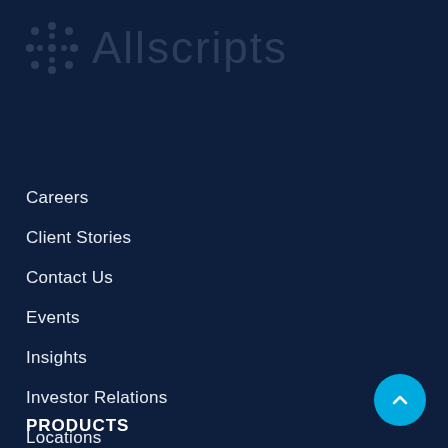[Figure (logo): Allscripts logo — star/snowflake icon followed by 'Allscripts' wordmark, displayed in low-opacity watermark style on dark navy background]
Careers
Client Stories
Contact Us
Events
Insights
Investor Relations
Locations
Newsroom
Why Allscripts
PRODUCTS